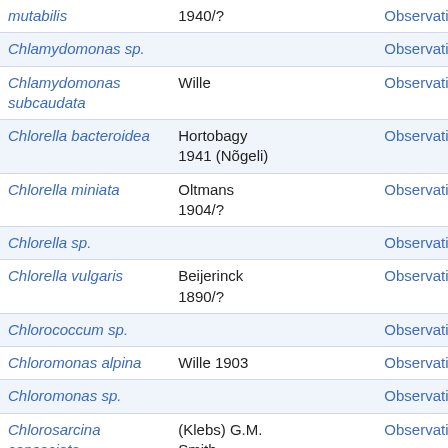| Species | Author |  | Observations |
| --- | --- | --- | --- |
| mutabilis | 1940/? |  | Observations |
| Chlamydomonas sp. |  |  | Observations |
| Chlamydomonas subcaudata | Wille |  | Observations |
| Chlorella bacteroidea | Hortobagy 1941 (Nõgeli) |  | Observations |
| Chlorella miniata | Oltmans 1904/? |  | Observations |
| Chlorella sp. |  |  | Observations |
| Chlorella vulgaris | Beijerinck 1890/? |  | Observations |
| Chlorococcum sp. |  |  | Observations |
| Chloromonas alpina | Wille 1903 |  | Observations |
| Chloromonas sp. |  |  | Observations |
| Chlorosarcina consociata | (Klebs) G.M. Smith |  | Observations |
| Chlorosarcina sp. |  |  | Observations |
| Chlorosarcinopsis |  |  | Observations |